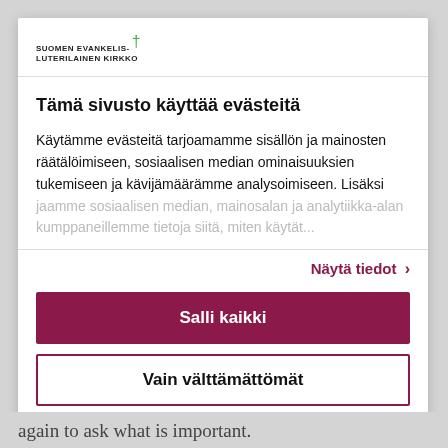SUOMEN EVANKELIS-LUTERILAINEN KIRKKO
Tämä sivusto käyttää evästeitä
Käytämme evästeitä tarjoamamme sisällön ja mainosten räätälöimiseen, sosiaalisen median ominaisuuksien tukemiseen ja kävijämäärämme analysoimiseen. Lisäksi jaamme sosiaalisen median, mainosalan ja analytiikka-alan kumppaneillemme tietoja siitä, miten käytät...
Näytä tiedot >
Salli kaikki
Vain välttämättömät
again to ask what is important.